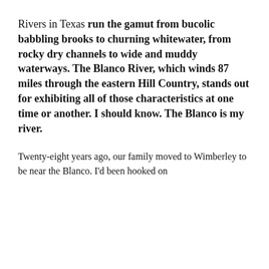Rivers in Texas run the gamut from bucolic babbling brooks to churning whitewater, from rocky dry channels to wide and muddy waterways. The Blanco River, which winds 87 miles through the eastern Hill Country, stands out for exhibiting all of those characteristics at one time or another. I should know. The Blanco is my river.
Twenty-eight years ago, our family moved to Wimberley to be near the Blanco. I'd been hooked on